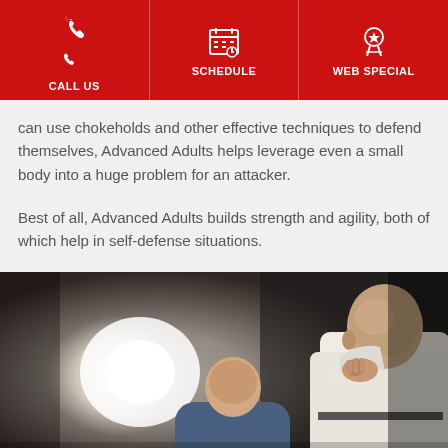CALL US | SCHEDULE | WEB SPECIAL
can use chokeholds and other effective techniques to defend themselves, Advanced Adults helps leverage even a small body into a huge problem for an attacker.
Best of all, Advanced Adults builds strength and agility, both of which help in self-defense situations.
[Figure (photo): Two martial arts practitioners in a dojo; a bald man in a white gi grips the collar of another person in blue, viewed from behind/side angle, with bright light in the background.]